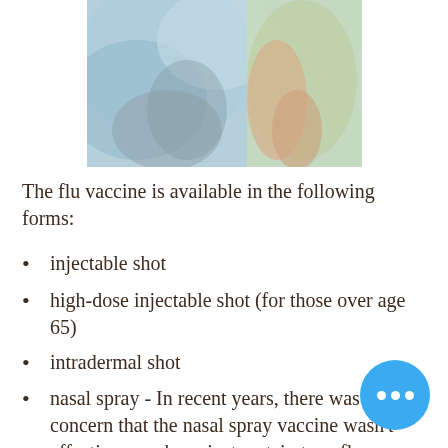[Figure (photo): Blurred photo of a person in a light green top with a blurred blue/teal background, suggesting a medical or clinical setting.]
The flu vaccine is available in the following forms:
injectable shot
high-dose injectable shot (for those over age 65)
intradermal shot
nasal spray - In recent years, there was concern that the nasal spray vaccine wasn't effective enough against certain types of flu. However, the nasal spray